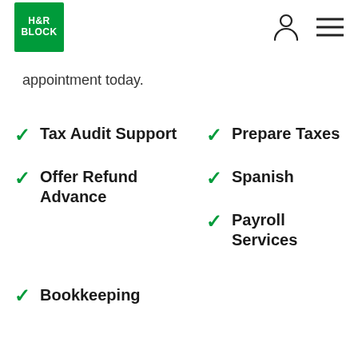H&R BLOCK – Navigation header with logo, account icon, and menu icon
appointment today.
Tax Audit Support
Prepare Taxes
Offer Refund Advance
Spanish
Payroll Services
Bookkeeping